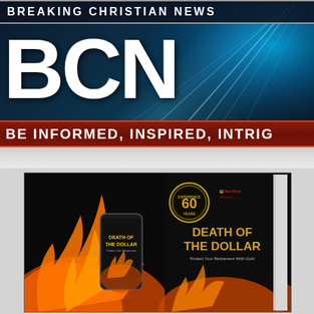[Figure (logo): Breaking Christian News (BCN) header banner with large white BCN letters on dark teal/navy background with light rays]
BE INFORMED, INSPIRED, INTRIG
[Figure (illustration): Advertisement for 'Death of the Dollar' book by Red Rock, showing phone and book with flames background. Badge reads '60 YEARS EXPERIENCE'. Subtitle: Protect Your Retirement With Gold]